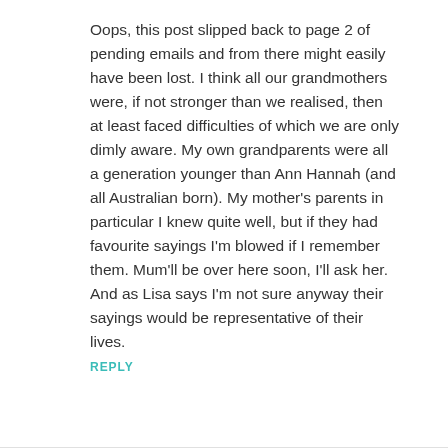Oops, this post slipped back to page 2 of pending emails and from there might easily have been lost. I think all our grandmothers were, if not stronger than we realised, then at least faced difficulties of which we are only dimly aware. My own grandparents were all a generation younger than Ann Hannah (and all Australian born). My mother's parents in particular I knew quite well, but if they had favourite sayings I'm blowed if I remember them. Mum'll be over here soon, I'll ask her. And as Lisa says I'm not sure anyway their sayings would be representative of their lives.
REPLY